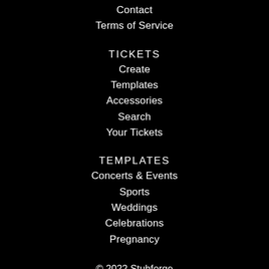Contact
Terms of Service
TICKETS
Create
Templates
Accessories
Search
Your Tickets
TEMPLATES
Concerts & Events
Sports
Weddings
Celebrations
Pregnancy
© 2022 Stubforge